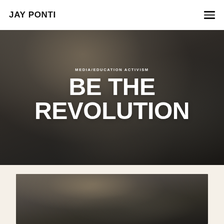JAY PONTI
[Figure (photo): Person with raised fist at outdoor protest/rally, dark jacket, trees in background, black and white toned photo]
MEDIA/EDUCATION ACTIVISM
BE THE REVOLUTION
[Figure (photo): Same person with raised fist, cropped photo below hero section on cream background]